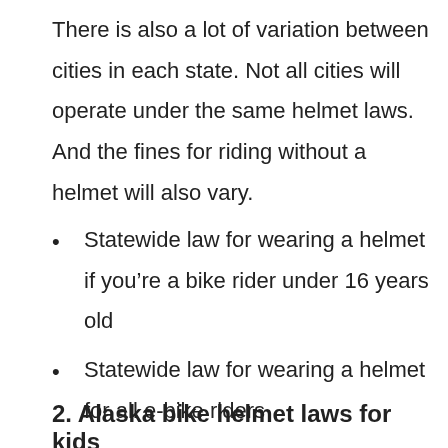There is also a lot of variation between cities in each state. Not all cities will operate under the same helmet laws. And the fines for riding without a helmet will also vary.
Statewide law for wearing a helmet if you're a bike rider under 16 years old
Statewide law for wearing a helmet for all e-bike riders
2. Alaska bike helmet laws for kids